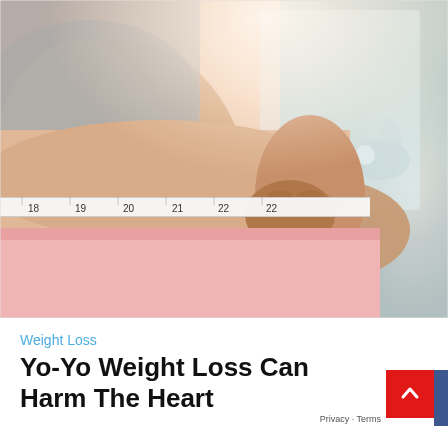[Figure (photo): Close-up photo of a person measuring their waist with a tape measure showing numbers 18 through 22+, wearing a grey top and pink shorts, with a blurred bathroom mirror background]
Weight Loss
Yo-Yo Weight Loss Can Harm The Heart